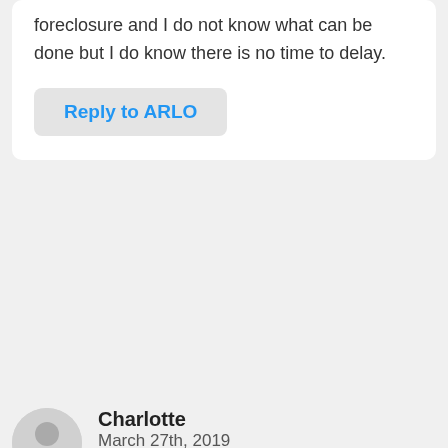foreclosure and I do not know what can be done but I do know there is no time to delay.
Reply to ARLO
Charlotte
March 27th, 2019
I am currently going through a chapter 7 bankruptcy. I have a reverse mortgage through ocwen(liberty home equity). we did the reverse mortgage in 2017 and the only line of credit we have is that they pay the taxes and insurance. Can they take my